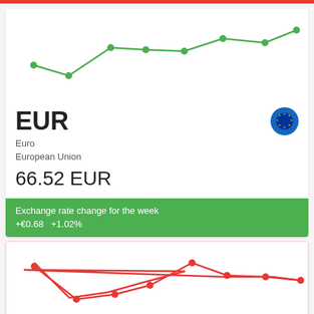[Figure (line-chart): EUR weekly exchange rate]
EUR
Euro
European Union
66.52 EUR
Exchange rate change for the week
+€0.68   +1.02%
[Figure (line-chart): BTC weekly exchange rate]
BTC